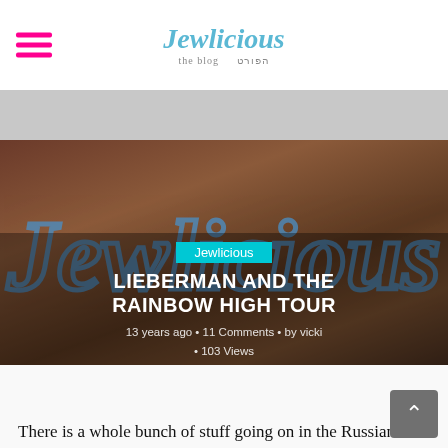Jewlicious
[Figure (photo): Hero image showing the Jewlicious logo in large blue retro script text on a brown/beige background, partially overlaid with a dark semi-transparent banner containing the article title and metadata]
LIEBERMAN AND THE RAINBOW HIGH TOUR
13 years ago • 11 Comments • by vicki • 103 Views
There is a whole bunch of stuff going on in the Russian